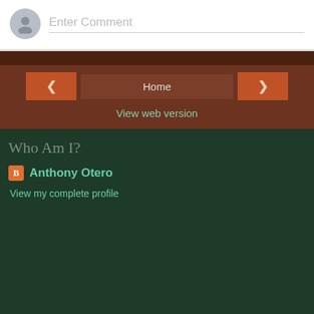[Figure (screenshot): Comment input box with gray avatar icon and 'Enter Comment' placeholder text on white background]
[Figure (screenshot): Navigation bar with dark brown background, orange left arrow button, Home center button, right arrow button, and 'View web version' link in teal]
Who Am I?
Anthony Otero
View my complete profile